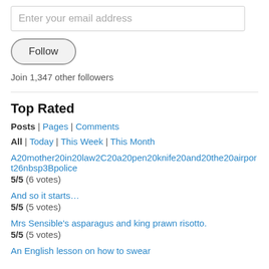Enter your email address
Follow
Join 1,347 other followers
Top Rated
Posts | Pages | Comments
All | Today | This Week | This Month
A20mother20in20law2C20a20pen20knife20and20the20airport26nbsp3Bpolice
5/5 (6 votes)
And so it starts…
5/5 (5 votes)
Mrs Sensible's asparagus and king prawn risotto.
5/5 (5 votes)
An English lesson on how to swear